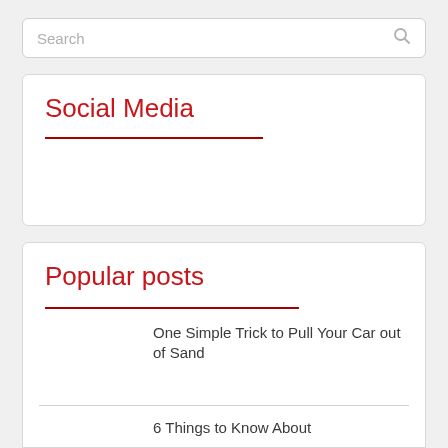Search
Social Media
Popular posts
One Simple Trick to Pull Your Car out of Sand
6 Things to Know About